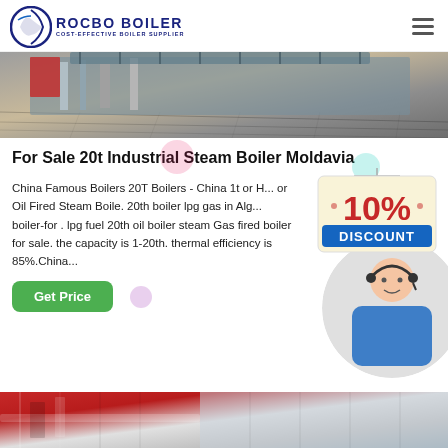ROCBO BOILER - COST-EFFECTIVE BOILER SUPPLIER
[Figure (photo): Industrial boiler/steam machinery equipment photo showing metal pipes and machinery on a factory floor]
For Sale 20t Industrial Steam Boiler Moldavia
China Famous Boilers 20T Boilers - China 1t or H... or Oil Fired Steam Boile. 20th boiler lpg gas in Alg... boiler-for . lpg fuel 20th oil boiler steam Gas fired boiler for sale. the capacity is 1-20th. thermal efficiency is 85%.China...
[Figure (infographic): 10% DISCOUNT promotional overlay badge]
[Figure (photo): Customer support representative woman with headset smiling]
[Figure (photo): Industrial boiler facility interior photo at bottom of page]